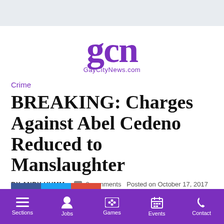[Figure (logo): GCN GayCityNews.com logo in purple]
Crime
BREAKING: Charges Against Abel Cedeno Reduced to Manslaughter
BY ANDY HUMM   0 comments   Posted on October 17, 2017
Sections  Jobs  Games  Events  Contact